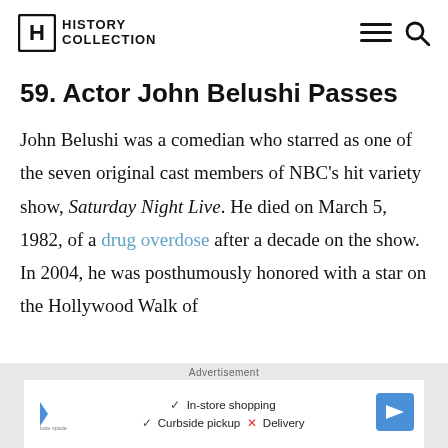HISTORY COLLECTION
59. Actor John Belushi Passes
John Belushi was a comedian who starred as one of the seven original cast members of NBC's hit variety show, Saturday Night Live. He died on March 5, 1982, of a drug overdose after a decade on the show. In 2004, he was posthumously honored with a star on the Hollywood Walk of
Advertisement